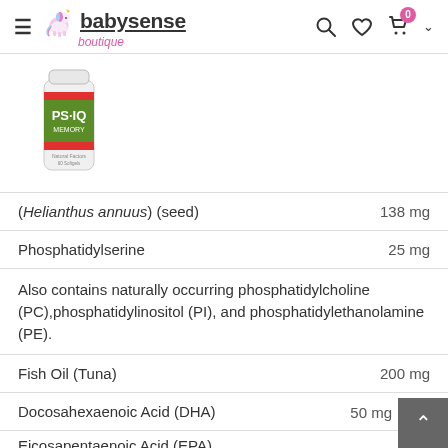babysense boutique — navigation header with logo, search, wishlist, cart (0)
[Figure (photo): Product photo of PS-IQ Memory supplement bottle (Natural Factors brand), white plastic bottle with red and green label]
(Helianthus annuus) (seed)    138 mg
Phosphatidylserine    25 mg
Also contains naturally occurring phosphatidylcholine (PC),phosphatidylinositol (PI), and phosphatidylethanolamine (PE).
Fish Oil (Tuna)    200 mg
Docosahexaenoic Acid (DHA)    50 mg
Eicosapentaenoic Acid (EPA)    [partially visible]